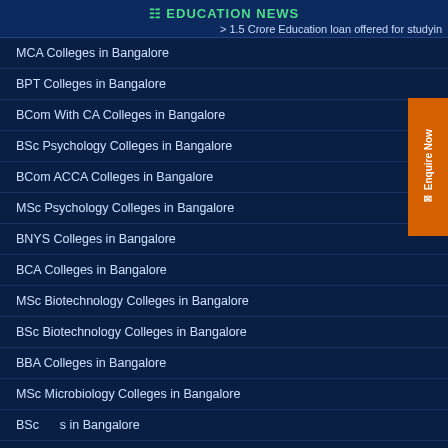EDUCATION NEWS
> 1.5 Crore Education loan offered for studyin
MCA Colleges in Bangalore
BPT Colleges in Bangalore
BCom With CA Colleges in Bangalore
BSc Psychology Colleges in Bangalore
BCom ACCA Colleges in Bangalore
MSc Psychology Colleges in Bangalore
BNYS Colleges in Bangalore
BCA Colleges in Bangalore
MSc Biotechnology Colleges in Bangalore
BSc Biotechnology Colleges in Bangalore
BBA Colleges in Bangalore
MSc Microbiology Colleges in Bangalore
BSc ... in Bangalore
MBA ... ges in Bangalore